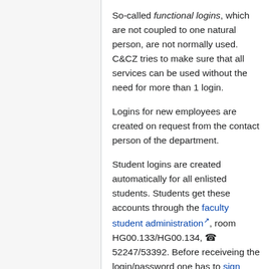So-called functional logins, which are not coupled to one natural person, are not normally used. C&CZ tries to make sure that all services can be used without the need for more than 1 login.
Logins for new employees are created on request from the contact person of the department.
Student logins are created automatically for all enlisted students. Students get these accounts through the faculty student administration, room HG00.133/HG00.134, ☎ 52247/53392. Before receiveing the login/password one has to sign (Dutch MS-Word document) that one agrees with the formal rules (Dutch MS-Word document) and the rules for conduct